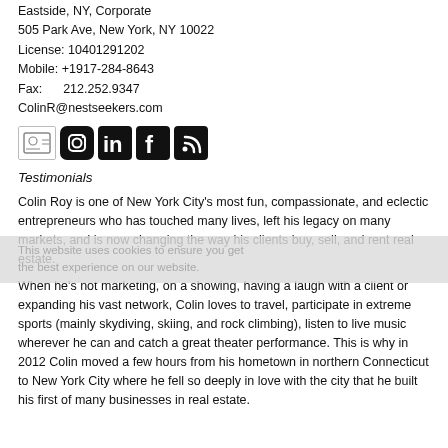Eastside, NY, Corporate
505 Park Ave, New York, NY 10022
License: 10401291202
Mobile: +1917-284-8643
Fax:       212.252.9347
ColinR@nestseekers.com
[Figure (infographic): Social media icons row: vCard/contact icon, Instagram, LinkedIn, Facebook, RSS feed]
Testimonials
Colin Roy is one of New York City's most fun, compassionate, and eclectic entrepreneurs who has touched many lives, left his legacy on many markets, and is now changing the way his clients buy, sell, and rent real estate.
When he's not marketing, on a showing, having a laugh with a client or expanding his vast network, Colin loves to travel, participate in extreme sports (mainly skydiving, skiing, and rock climbing), listen to live music wherever he can and catch a great theater performance. This is why in 2012 Colin moved a few hours from his hometown in northern Connecticut to New York City where he fell so deeply in love with the city that he built his first of many businesses in real estate.